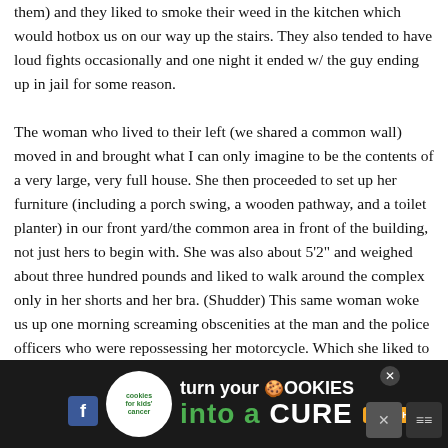them) and they liked to smoke their weed in the kitchen which would hotbox us on our way up the stairs. They also tended to have loud fights occasionally and one night it ended w/ the guy ending up in jail for some reason. The woman who lived to their left (we shared a common wall) moved in and brought what I can only imagine to be the contents of a very large, very full house. She then proceeded to set up her furniture (including a porch swing, a wooden pathway, and a toilet planter) in our front yard/the common area in front of the building, not just hers to begin with. She was also about 5'2" and weighed about three hundred pounds and liked to walk around the complex only in her shorts and her bra. (Shudder) This same woman woke us up one morning screaming obscenities at the man and the police officers who were repossessing her motorcycle. Which she liked to rev up over and over and over again at 11 o'clock at night. We bought a house and moved as soon as we could. The man who owned the house next door to us moved in with his girlfriend and started renting his house out. The first renter turned his car port into a living room, complete with a bar and a TV and would party ha...
[Figure (other): Advertisement banner: 'cookies for kids cancer — turn your COOKIES into a CURE LEARN HOW' on a dark background with cookie emoji logo, Facebook icon, close buttons, and social media icons.]